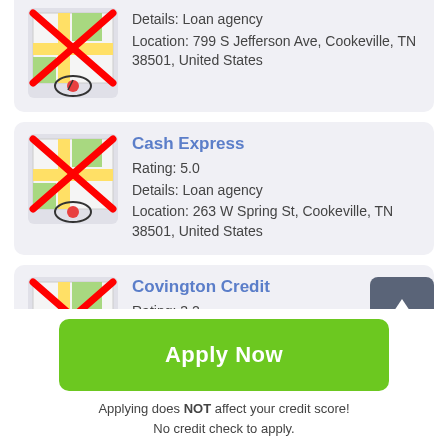Details: Loan agency
Location: 799 S Jefferson Ave, Cookeville, TN 38501, United States
Cash Express
Rating: 5.0
Details: Loan agency
Location: 263 W Spring St, Cookeville, TN 38501, United States
Covington Credit
Rating: 3.2
Details: Loan agency
Apply Now
Applying does NOT affect your credit score!
No credit check to apply.